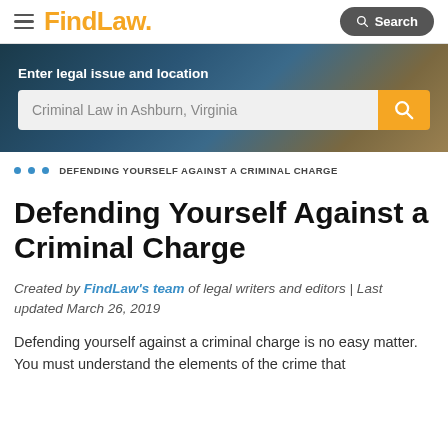FindLaw
[Figure (screenshot): FindLaw website hero banner with search bar showing 'Criminal Law in Ashburn, Virginia']
... DEFENDING YOURSELF AGAINST A CRIMINAL CHARGE
Defending Yourself Against a Criminal Charge
Created by FindLaw's team of legal writers and editors | Last updated March 26, 2019
Defending yourself against a criminal charge is no easy matter. You must understand the elements of the crime that